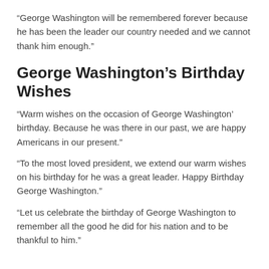“George Washington will be remembered forever because he has been the leader our country needed and we cannot thank him enough.”
George Washington’s Birthday Wishes
“Warm wishes on the occasion of George Washington’ birthday. Because he was there in our past, we are happy Americans in our present.”
“To the most loved president, we extend our warm wishes on his birthday for he was a great leader. Happy Birthday George Washington.”
“Let us celebrate the birthday of George Washington to remember all the good he did for his nation and to be thankful to him.”